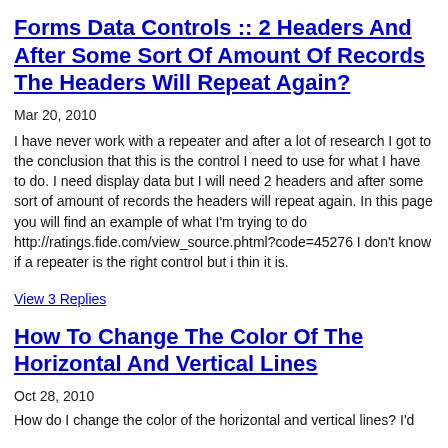Forms Data Controls :: 2 Headers And After Some Sort Of Amount Of Records The Headers Will Repeat Again?
Mar 20, 2010
I have never work with a repeater and after a lot of research I got to the conclusion that this is the control I need to use for what I have to do. I need display data but I will need 2 headers and after some sort of amount of records the headers will repeat again. In this page you will find an example of what I'm trying to do http://ratings.fide.com/view_source.phtml?code=45276 I don't know if a repeater is the right control but i thin it is.
View 3 Replies
How To Change The Color Of The Horizontal And Vertical Lines
Oct 28, 2010
How do I change the color of the horizontal and vertical lines? I'd